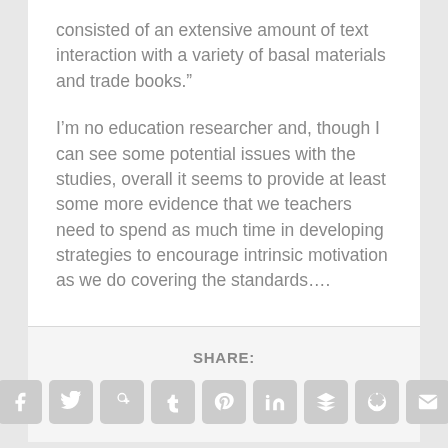consisted of an extensive amount of text interaction with a variety of basal materials and trade books.”
I’m no education researcher and, though I can see some potential issues with the studies, overall it seems to provide at least some more evidence that we teachers need to spend as much time in developing strategies to encourage intrinsic motivation as we do covering the standards….
SHARE: